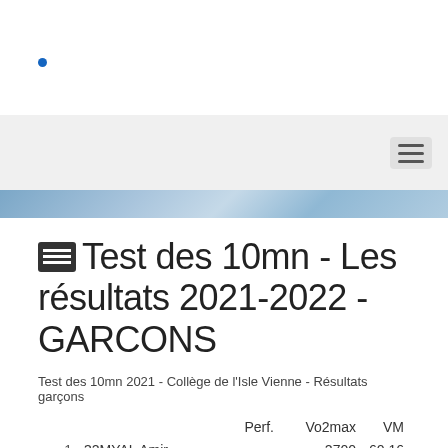•
Test des 10mn - Les résultats 2021-2022 - GARCONS
Test des 10mn 2021 - Collège de l'Isle Vienne - Résultats garçons
|  | Perf. | Vo2max | VM |
| --- | --- | --- | --- |
| 1 | 32MYAL Amir | 2700 | 60,16 |  |
| 2 | 34BONY Yohann | 2550 | 56,19 |  |